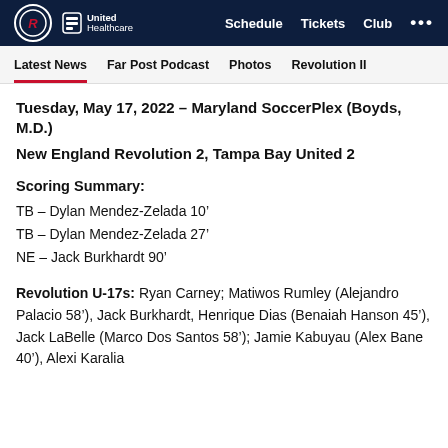Schedule  Tickets  Club ...
Latest News  Far Post Podcast  Photos  Revolution II
Tuesday, May 17, 2022 – Maryland SoccerPlex (Boyds, M.D.)
New England Revolution 2, Tampa Bay United 2
Scoring Summary:
TB – Dylan Mendez-Zelada 10'
TB – Dylan Mendez-Zelada 27'
NE – Jack Burkhardt 90'
Revolution U-17s: Ryan Carney; Matiwos Rumley (Alejandro Palacio 58'), Jack Burkhardt, Henrique Dias (Benaiah Hanson 45'), Jack LaBelle (Marco Dos Santos 58'); Jamie Kabuyau (Alex Bane 40'), Alexi Karalia